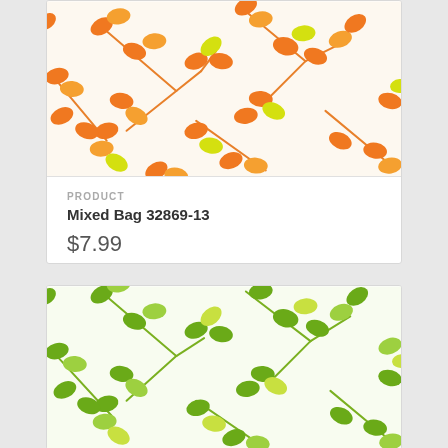[Figure (photo): Fabric swatch with orange and yellow leaf/botanical pattern on white background]
PRODUCT
Mixed Bag 32869-13
$7.99
[Figure (photo): Fabric swatch with green and yellow-green leaf/botanical pattern on white background]